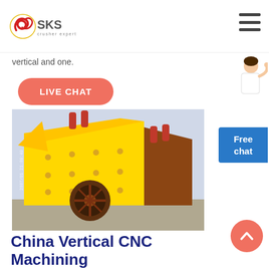SKS crusher expert
vertical and one.
LIVE CHAT
[Figure (screenshot): Free chat widget with female assistant figure on the right side of the page]
[Figure (photo): Large yellow industrial impact crusher machine photographed outdoors, dated 2007/01/21]
China Vertical CNC Machining Center PM0 Series...